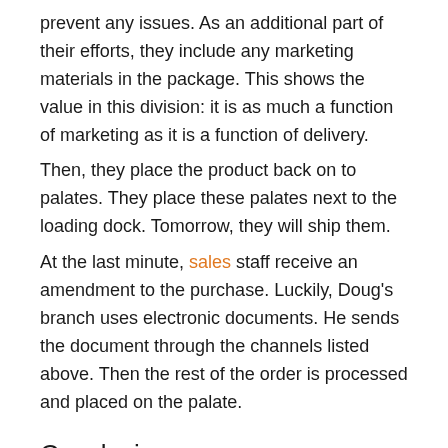prevent any issues. As an additional part of their efforts, they include any marketing materials in the package. This shows the value in this division: it is as much a function of marketing as it is a function of delivery.
Then, they place the product back on to palates. They place these palates next to the loading dock. Tomorrow, they will ship them.
At the last minute, sales staff receive an amendment to the purchase. Luckily, Doug's branch uses electronic documents. He sends the document through the channels listed above. Then the rest of the order is processed and placed on the palate.
Conclusion
Finally, the order is processed and delivered...